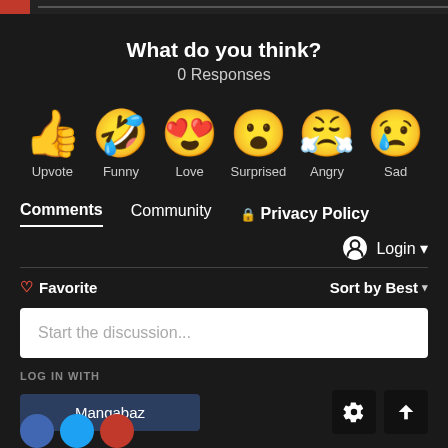What do you think?
0 Responses
[Figure (infographic): Six emoji reaction icons in a row: thumbs up (Upvote), laughing with tongue (Funny), heart eyes (Love), surprised face (Surprised), angry crying face (Angry), sad crying face (Sad)]
Comments  Community  🔒 Privacy Policy
Login ▾
♡ Favorite  Sort by Best ▾
Start the discussion...
LOG IN WITH
Mangabaz